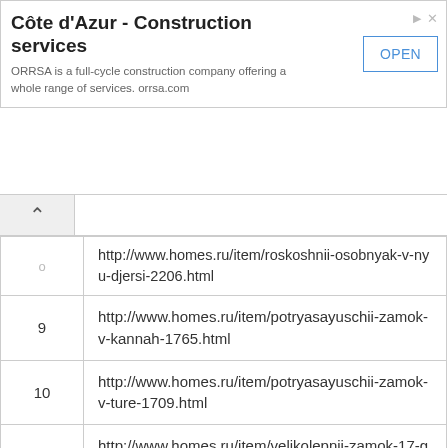[Figure (screenshot): Advertisement banner for Côte d'Azur Construction services by ORRSA with OPEN button]
| # | URL |
| --- | --- |
| 8 | http://www.homes.ru/item/roskoshnii-osobnyak-v-nyu-djersi-2206.html |
| 9 | http://www.homes.ru/item/potryasayuschii-zamok-v-kannah-1765.html |
| 10 | http://www.homes.ru/item/potryasayuschii-zamok-v-ture-1709.html |
| 11 | http://www.homes.ru/item/velikolepnii-zamok-17-go-veka-v-vernone-1680.html |
| 12 | http://www.homes.ru/item/roskoshnaya-villa-s-unikalnim-dizainom-1115.html |
| 13 | http://www.homes.ru/item/prevoshodnie-novie-apartamenti-v-singapure-1696.htm |